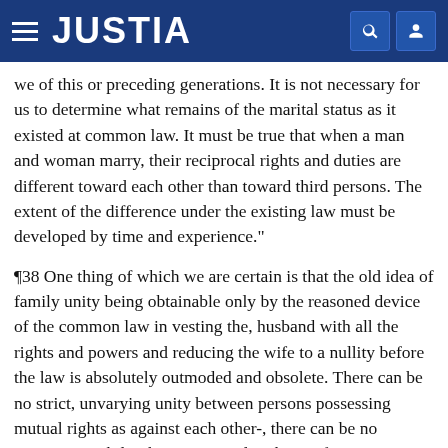JUSTIA
we of this or preceding generations. It is not necessary for us to determine what remains of the marital status as it existed at common law. It must be true that when a man and woman marry, their reciprocal rights and duties are different toward each other than toward third persons. The extent of the difference under the existing law must be developed by time and experience."
¶38 One thing of which we are certain is that the old idea of family unity being obtainable only by the reasoned device of the common law in vesting the, husband with all the rights and powers and reducing the wife to a nullity before the law is absolutely outmoded and obsolete. There can be no strict, unvarying unity between persons possessing mutual rights as against each other-, there can be no automatic stability between equals. There, of course, must be a certain unity of